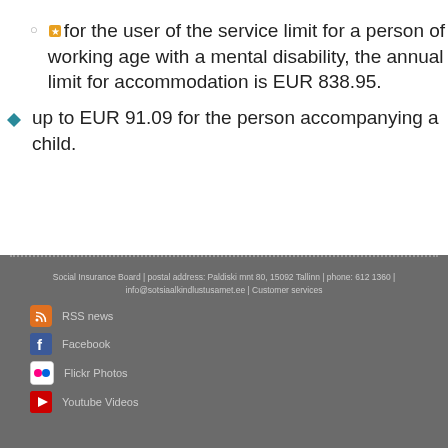for the user of the service limit for a person of working age with a mental disability, the annual limit for accommodation is EUR 838.95.
up to EUR 91.09 for the person accompanying a child.
Social Insurance Board | postal address: Paldiski mnt 80, 15092 Tallinn | phone: 612 1360 | info@sotsiaalkindlustusamet.ee | Customer services
RSS news
Facebook
Flickr Photos
Youtube Videos